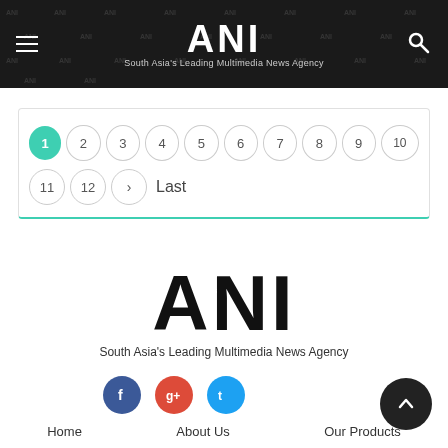ANI — South Asia's Leading Multimedia News Agency
Pagination: 1 (active), 2, 3, 4, 5, 6, 7, 8, 9, 10, 11, 12, > Last
[Figure (logo): ANI logo — South Asia's Leading Multimedia News Agency]
[Figure (infographic): Social media icons: Facebook (blue), Google+ (red), Twitter (cyan)]
Home   About Us   Our Products